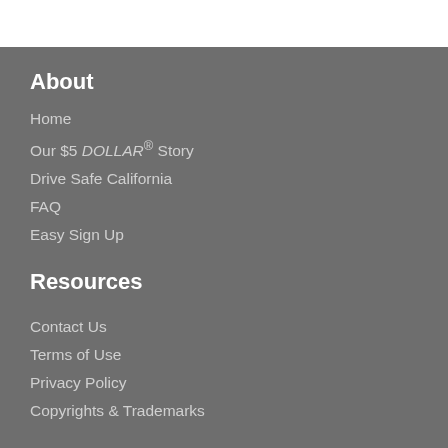About
Home
Our $5 DOLLAR® Story
Drive Safe California
FAQ
Easy Sign Up
Resources
Contact Us
Terms of Use
Privacy Policy
Copyrights & Trademarks
Verified & Secured